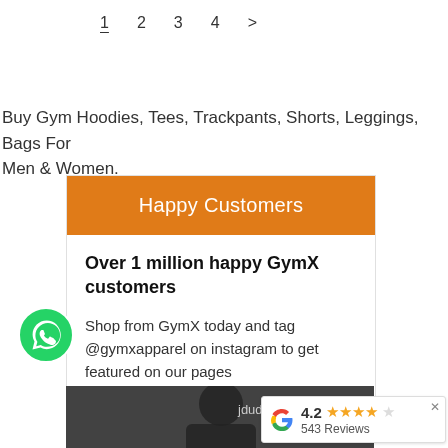1  2  3  4  >
Buy Gym Hoodies, Tees, Trackpants, Shorts, Leggings, Bags For Men & Women.
Happy Customers
Over 1 million happy GymX customers
Shop from GymX today and tag @gymxapparel on instagram to get featured on our pages
[Figure (photo): Customer photo strip with username jdudhane]
[Figure (other): Google rating widget showing 4.2 stars and 543 Reviews]